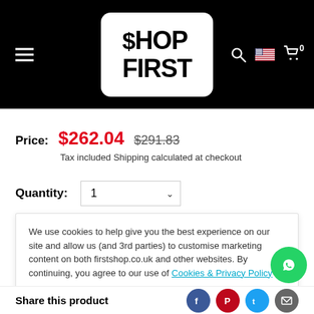[Figure (logo): Shop First logo — white rounded rectangle on black header background, with hamburger menu on left and search/flag/cart icons on right]
Price:   $262.04   $291.83
Tax included Shipping calculated at checkout
Quantity:  1
We use cookies to help give you the best experience on our site and allow us (and 3rd parties) to customise marketing content on both firstshop.co.uk and other websites. By continuing, you agree to our use of Cookies & Privacy Policy
Accept
Share this product